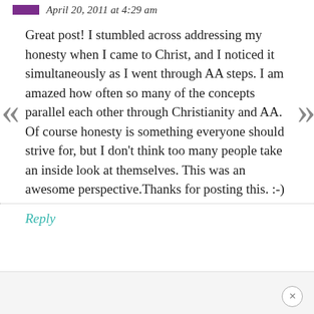April 20, 2011 at 4:29 am
Great post! I stumbled across addressing my honesty when I came to Christ, and I noticed it simultaneously as I went through AA steps. I am amazed how often so many of the concepts parallel each other through Christianity and AA. Of course honesty is something everyone should strive for, but I don't think too many people take an inside look at themselves. This was an awesome perspective.Thanks for posting this. :-)
Reply